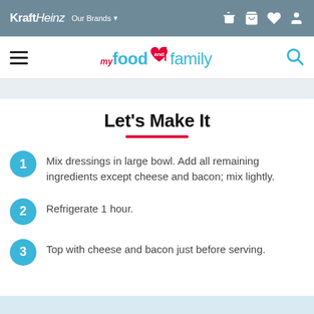Kraft Heinz  Our Brands
my food and family
Let's Make It
Mix dressings in large bowl. Add all remaining ingredients except cheese and bacon; mix lightly.
Refrigerate 1 hour.
Top with cheese and bacon just before serving.